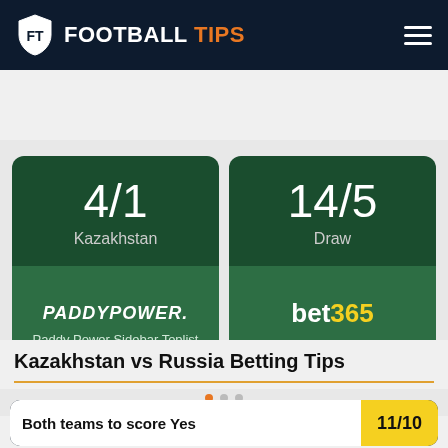FOOTBALL TIPS
[Figure (infographic): Two betting odds cards side by side. Left card: 4/1 Kazakhstan, Paddy Power Sidebar Toplist. Right card: 14/5 Draw, Bet365.]
Kazakhstan vs Russia Betting Tips
Both teams to score Yes  11/10